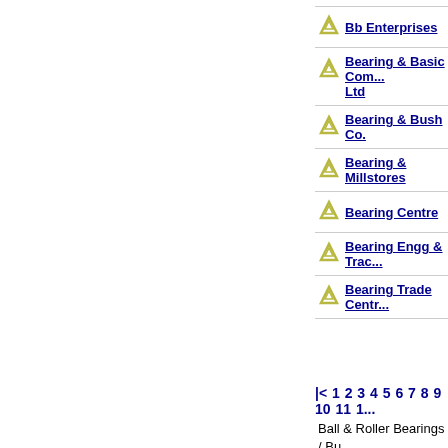Bb Enterprises
Bearing & Basic Com... Ltd
Bearing & Bush Co.
Bearing & Millstores
Bearing Centre
Bearing Engg & Trac...
Bearing Trade Centr...
|< 1 2 3 4 5 6 7 8 9 10 11 1...
Ball & Roller Bearings / Bu... Roller Bearings / Bushes Ye... Bearings/Bushes Suppl...